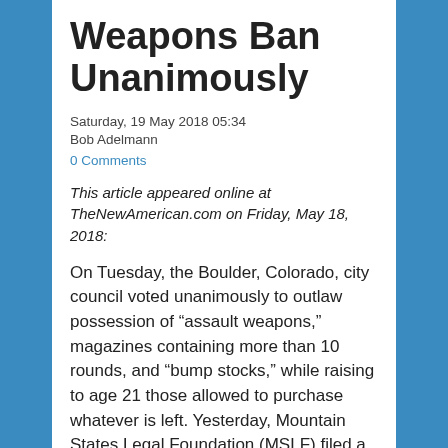Weapons Ban Unanimously
Saturday, 19 May 2018 05:34
Bob Adelmann
0 Comments
This article appeared online at TheNewAmerican.com on Friday, May 18, 2018:
On Tuesday, the Boulder, Colorado, city council voted unanimously to outlaw possession of “assault weapons,” magazines containing more than 10 rounds, and “bump stocks,” while raising to age 21 those allowed to purchase whatever is left. Yesterday, Mountain States Legal Foundation (MSLF) filed a lawsuit in federal court. Said MSLF attorney Cody Wisniewski, “This ban is tantamount to Boulder attempting to stop